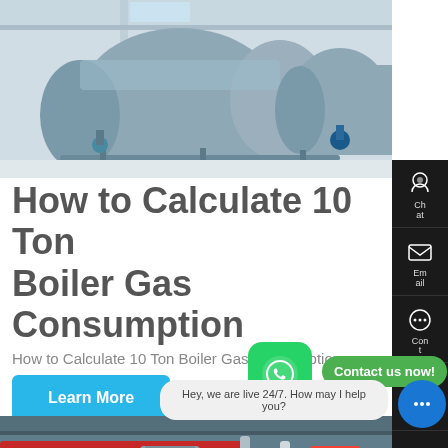[Figure (photo): Industrial boilers in a factory, two large blue cylindrical horizontal boilers with pipes and valves on a concrete floor]
How to Calculate 10 Ton Boiler Gas Consumption
How to Calculate 10 Ton Boiler Gas Consumption
Learn More
[Figure (photo): Industrial boiler room with red and blue pipes, pressure gauges, and cylindrical boiler equipment]
Contact us now!
Hey, we are live 24/7. How may I help you?